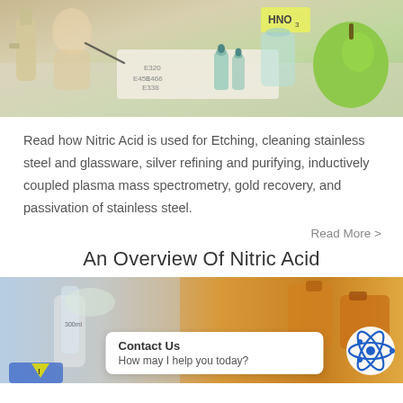[Figure (photo): Lab photo showing chemical bottles with E-number labels and HNO3, a green apple, and lab glassware on a white surface]
Read how Nitric Acid is used for Etching, cleaning stainless steel and glassware, silver refining and purifying, inductively coupled plasma mass spectrometry, gold recovery, and passivation of stainless steel.
Read More >
An Overview Of Nitric Acid
[Figure (photo): Lab photo showing a person in gloves handling a graduated cylinder with orange chemical bottles in the background, with a Contact Us chat bubble overlay and an atom icon]
Contact Us
How may I help you today?